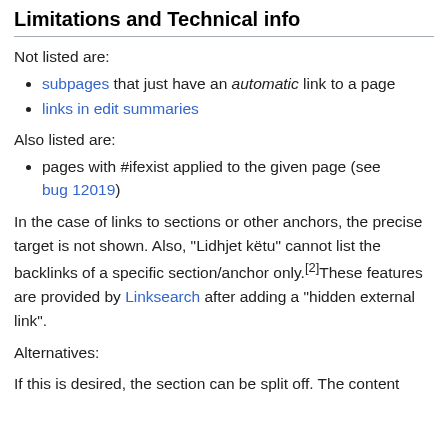Limitations and Technical info
Not listed are:
subpages that just have an automatic link to a page
links in edit summaries
Also listed are:
pages with #ifexist applied to the given page (see bug 12019)
In the case of links to sections or other anchors, the precise target is not shown. Also, "Lidhjet këtu" cannot list the backlinks of a specific section/anchor only.[2]These features are provided by Linksearch after adding a "hidden external link".
Alternatives:
If this is desired, the section can be split off. The content